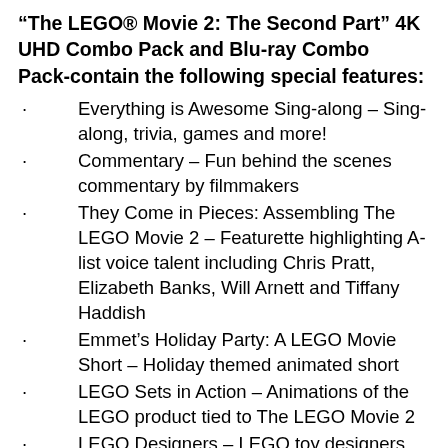“The LEGO® Movie 2: The Second Part” 4K UHD Combo Pack and Blu-ray Combo Pack‐contain the following special features:
Everything is Awesome Sing-along – Sing-along, trivia, games and more!
Commentary – Fun behind the scenes commentary by filmmakers
They Come in Pieces: Assembling The LEGO Movie 2 – Featurette highlighting A-list voice talent including Chris Pratt, Elizabeth Banks, Will Arnett and Tiffany Haddish
Emmet’s Holiday Party: A LEGO Movie Short – Holiday themed animated short
LEGO Sets in Action – Animations of the LEGO product tied to The LEGO Movie 2
LEGO Designers – LEGO toy designers highlight key play sets in TLM2 product line
Outtakes & Deleted Scenes – Never before